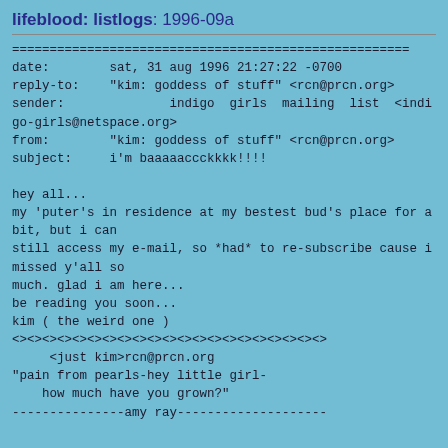lifeblood: listlogs: 1996-09a
=====================================================
date:        sat, 31 aug 1996 21:27:22 -0700
reply-to:    "kim: goddess of stuff" <rcn@prcn.org>
sender:              indigo  girls  mailing  list  <indigo-girls@netspace.org>
from:        "kim: goddess of stuff" <rcn@prcn.org>
subject:     i'm baaaaaccckkkk!!!!

hey all...
my 'puter's in residence at my bestest bud's place for a bit, but i can
still access my e-mail, so *had* to re-subscribe cause i missed y'all so
much. glad i am here...
be reading you soon...
kim ( the weird one )
<><><><><><><><><><><><><><><><><><><><><>
     <just kim>rcn@prcn.org
"pain from pearls-hey little girl-
    how much have you grown?"
---------------amy ray--------------------